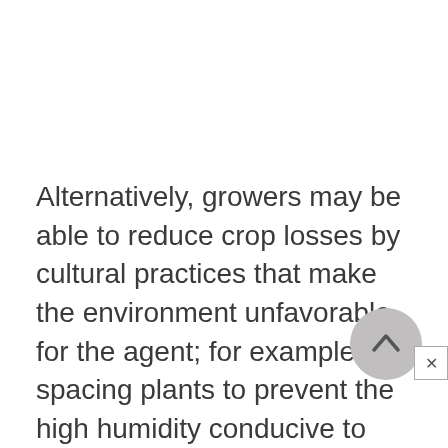Alternatively, growers may be able to reduce crop losses by cultural practices that make the environment unfavorable for the agent; for example, spacing plants to prevent the high humidity conducive to plant disease. If such methods are unsuccessful, the grower may be required to use